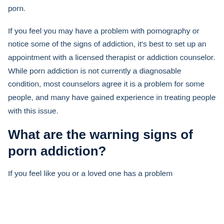porn.
If you feel you may have a problem with pornography or notice some of the signs of addiction, it's best to set up an appointment with a licensed therapist or addiction counselor. While porn addiction is not currently a diagnosable condition, most counselors agree it is a problem for some people, and many have gained experience in treating people with this issue.
What are the warning signs of porn addiction?
If you feel like you or a loved one has a problem